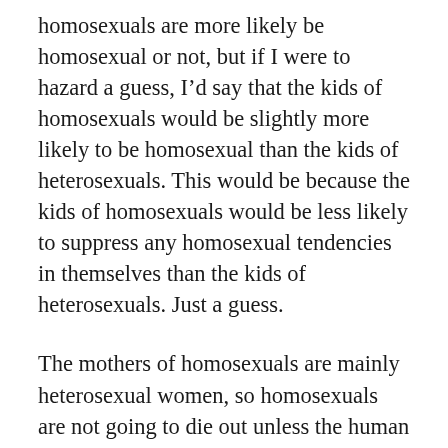homosexuals are more likely be homosexual or not, but if I were to hazard a guess, I’d say that the kids of homosexuals would be slightly more likely to be homosexual than the kids of heterosexuals. This would be because the kids of homosexuals would be less likely to suppress any homosexual tendencies in themselves than the kids of heterosexuals. Just a guess.
The mothers of homosexuals are mainly heterosexual women, so homosexuals are not going to die out unless the human race changes and homosexuals are not born. This is good, because they are often colourful and interesting characters. I know that’s a stereotype, but it’s not far off the mark.